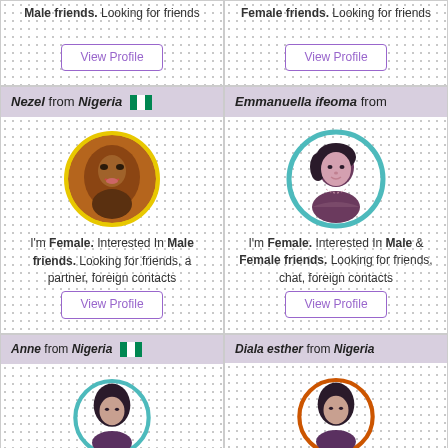Male friends. Looking for friends
Female friends. Looking for friends
View Profile
View Profile
Nezel from Nigeria
[Figure (photo): Profile photo of Nezel, a young woman, circular crop with yellow border]
I'm Female. Interested In Male friends. Looking for friends, a partner, foreign contacts
View Profile
Emmanuella ifeoma from
[Figure (illustration): Generic female avatar illustration with teal circular frame]
I'm Female. Interested In Male & Female friends. Looking for friends, chat, foreign contacts
View Profile
Anne from Nigeria
[Figure (illustration): Generic female avatar illustration with teal/dark circular frame, partially visible]
Diala esther from Nigeria
[Figure (illustration): Generic female avatar illustration with orange/dark circular frame, partially visible]